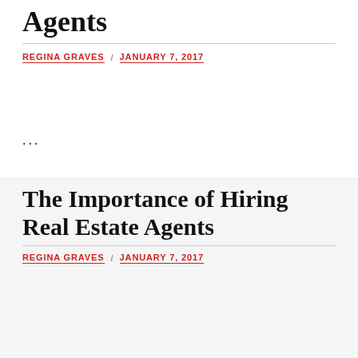Agents
REGINA GRAVES / JANUARY 7, 2017
...
The Importance of Hiring Real Estate Agents
REGINA GRAVES / JANUARY 7, 2017